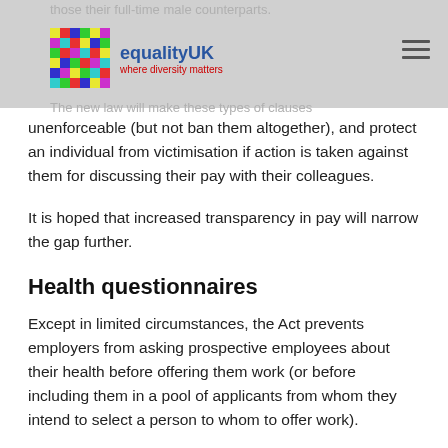those their full-time male counterparts. equalityUK where diversity matters The new law will make these types of clauses
unenforceable (but not ban them altogether), and protect an individual from victimisation if action is taken against them for discussing their pay with their colleagues.
It is hoped that increased transparency in pay will narrow the gap further.
Health questionnaires
Except in limited circumstances, the Act prevents employers from asking prospective employees about their health before offering them work (or before including them in a pool of applicants from whom they intend to select a person to whom to offer work).